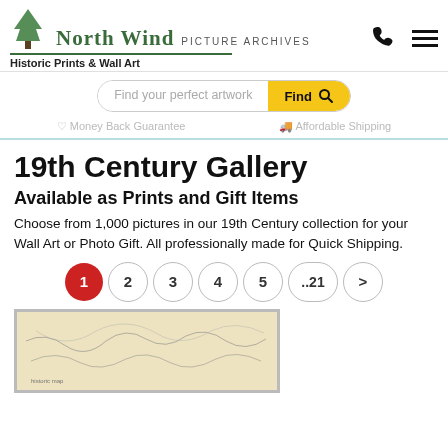[Figure (logo): North Wind Picture Archives logo with tree illustration and text]
Historic Prints & Wall Art
Find your perfect artwork
Money Back Guarantee  |  Affordable Shipping
19th Century Gallery
Available as Prints and Gift Items
Choose from 1,000 pictures in our 19th Century collection for your Wall Art or Photo Gift. All professionally made for Quick Shipping.
1  2  3  4  5  ..21  >
[Figure (photo): Historic map print from the 19th century collection]